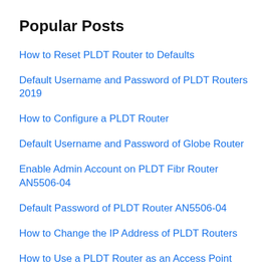Popular Posts
How to Reset PLDT Router to Defaults
Default Username and Password of PLDT Routers 2019
How to Configure a PLDT Router
Default Username and Password of Globe Router
Enable Admin Account on PLDT Fibr Router AN5506-04
Default Password of PLDT Router AN5506-04
How to Change the IP Address of PLDT Routers
How to Use a PLDT Router as an Access Point
How to Install Esptool on Windows 10